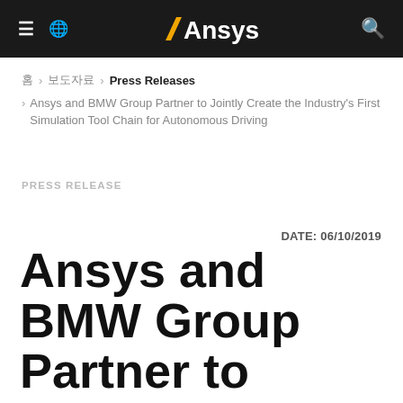≡  🌐  Ansys  🔍
홈  ›  보도자료  ›  Press Releases
›  Ansys and BMW Group Partner to Jointly Create the Industry's First Simulation Tool Chain for Autonomous Driving
PRESS RELEASE
DATE: 06/10/2019
Ansys and BMW Group Partner to Jointly Create the